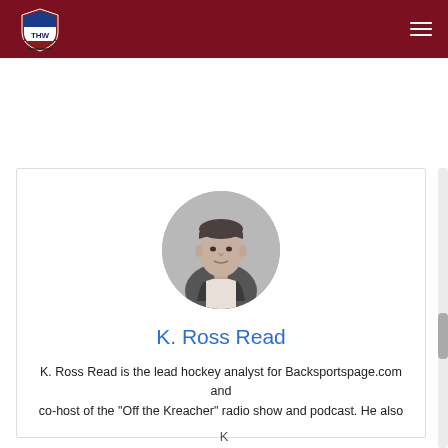THW - The Hockey Writers
[Figure (photo): Circular profile photo of K. Ross Read, a man in a suit jacket, grayscale]
K. Ross Read
K. Ross Read is the lead hockey analyst for Backsportspage.com and co-host of the "Off the Kreacher" radio show and podcast. He also...